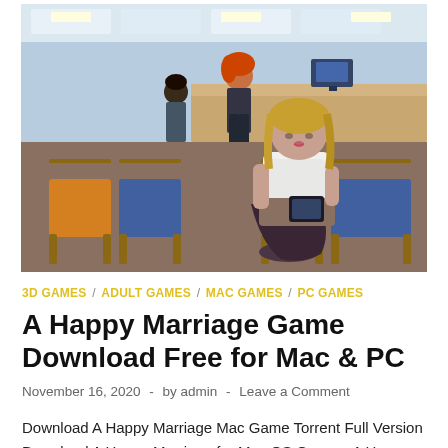[Figure (illustration): 3D rendered game screenshot showing a waiting room scene. A blonde woman in a white top and short skirt sits in a chair reading a tablet. In the background, a woman with red hair stands at what appears to be a reception desk area. Blue and orange chairs are visible, with an office/clinic interior setting.]
3D GAMES / ADULT GAMES / MAC GAMES / PC GAMES
A Happy Marriage Game Download Free for Mac & PC
November 16, 2020  -  by admin  -  Leave a Comment
Download A Happy Marriage Mac Game Torrent Full Version Download A Happy Marriage for Mac OS Games. A Happy Marriage Free Download MAC Game Cracked in Direct Link and Torrent. ...